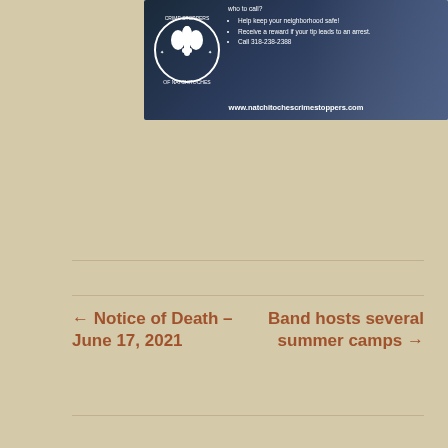[Figure (infographic): Crime Stoppers of Natchitoches banner ad with logo (fleur-de-lis badge), bullet points about helping keep neighborhood safe, receiving reward for tips leading to arrest, call 318-238-2388, and website www.natchitochescrimestoppers.com]
← Notice of Death – June 17, 2021
Band hosts several summer camps →